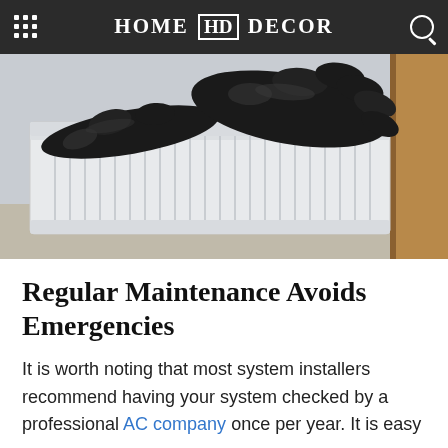HOME HD DECOR
[Figure (photo): Black leather gloves resting on top of a white panel radiator heater, with a wooden door frame visible in the background.]
Regular Maintenance Avoids Emergencies
It is worth noting that most system installers recommend having your system checked by a professional AC company once per year. It is easy